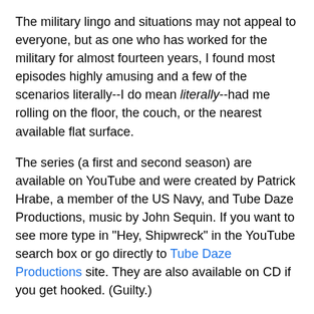The military lingo and situations may not appeal to everyone, but as one who has worked for the military for almost fourteen years, I found most episodes highly amusing and a few of the scenarios literally--I do mean literally--had me rolling on the floor, the couch, or the nearest available flat surface.
The series (a first and second season) are available on YouTube and were created by Patrick Hrabe, a member of the US Navy, and Tube Daze Productions, music by John Sequin. If you want to see more type in "Hey, Shipwreck" in the YouTube search box or go directly to Tube Daze Productions site. They are also available on CD if you get hooked. (Guilty.)
Here's my first in a series of Best Of "Hey, Shipwreck". This is one of the newer episodes from June 2008 that actually shows Thresher's--aka Keane's--face instead of just his helmet and spacesuit/uniform. I couldn't resist, since the password situation is *ahem* entirely too familiar. This is also one of the shorter episodes.